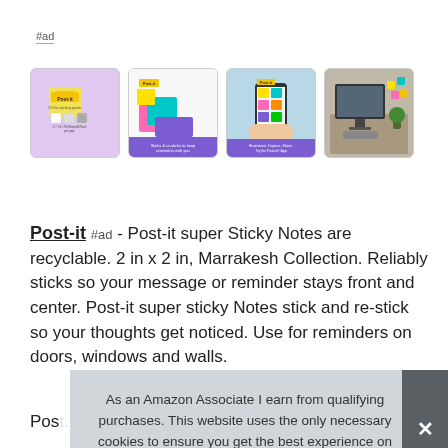#ad
[Figure (photo): Four product images for Post-it Super Sticky Notes: 1) Purple-background product packaging with Post-it logo and text '2X the sticking power, 1.5in x 1.5in, 50 Sheets per pad, 8 Pack'; 2) Colorful sticky notes stacked on white surface with text 'Sticks & re-sticks to keep reminders with you'; 3) Phone held in hand covered in colorful sticky notes with text 'Brainstorm. Capture. Share. Try the Post-it App'; 4) Photo of a desk/workspace with monitor and sticky notes on wall.]
Post-it #ad - Post-it super Sticky Notes are recyclable. 2 in x 2 in, Marrakesh Collection. Reliably sticks so your message or reminder stays front and center. Post-it super sticky Notes stick and re-stick so your thoughts get noticed. Use for reminders on doors, windows and walls.
As an Amazon Associate I earn from qualifying purchases. This website uses the only necessary cookies to ensure you get the best experience on our website. More information
Post-it... paper in post-it super Sticky Notes is sourced from certified,